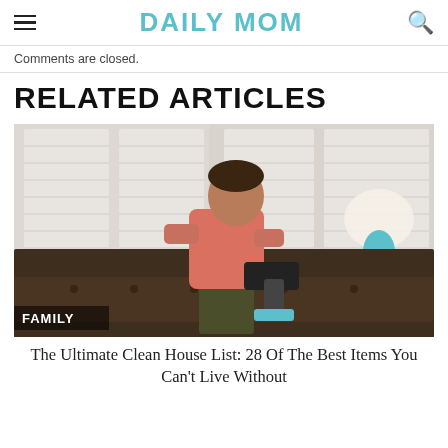DAILY MOM
Comments are closed.
RELATED ARTICLES
[Figure (photo): A man in a pink t-shirt and dark shorts uses a handheld vacuum cleaner on a dark brown tufted sofa in a living room with white shuttered windows and a teal lamp in the background. A 'FAMILY' label is overlaid in the bottom-left corner of the image.]
The Ultimate Clean House List: 28 Of The Best Items You Can't Live Without